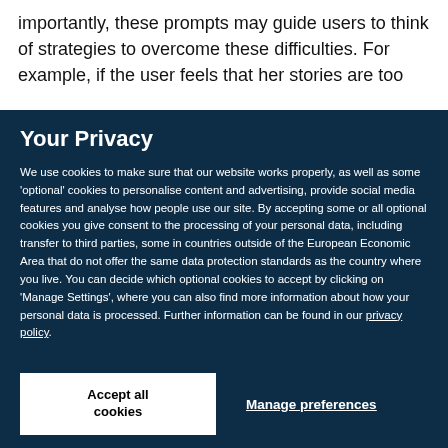importantly, these prompts may guide users to think of strategies to overcome these difficulties. For example, if the user feels that her stories are too
Your Privacy
We use cookies to make sure that our website works properly, as well as some 'optional' cookies to personalise content and advertising, provide social media features and analyse how people use our site. By accepting some or all optional cookies you give consent to the processing of your personal data, including transfer to third parties, some in countries outside of the European Economic Area that do not offer the same data protection standards as the country where you live. You can decide which optional cookies to accept by clicking on 'Manage Settings', where you can also find more information about how your personal data is processed. Further information can be found in our privacy policy.
Accept all cookies
Manage preferences